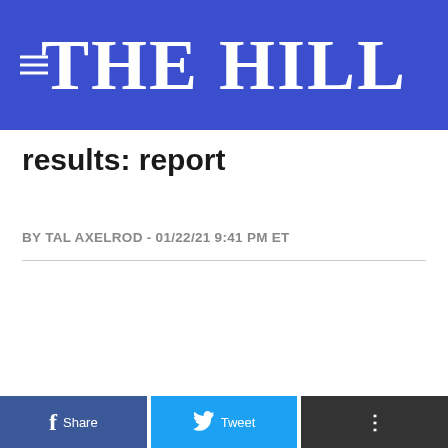THE HILL
results: report
BY TAL AXELROD - 01/22/21 9:41 PM ET